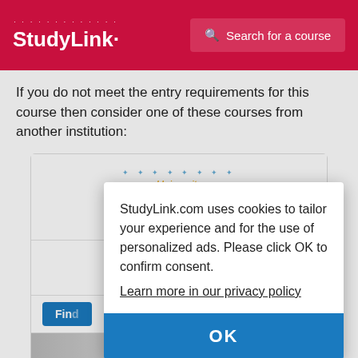StudyLink | Search for a course
If you do not meet the entry requirements for this course then consider one of these courses from another institution:
[Figure (logo): University of Pécs logo with dotted arc above, yellow italic text 'University of Pécs' and small tagline]
Prepa (Med Ps
StudyLink.com uses cookies to tailor your experience and for the use of personalized ads. Please click OK to confirm consent.
Learn more in our privacy policy
OK